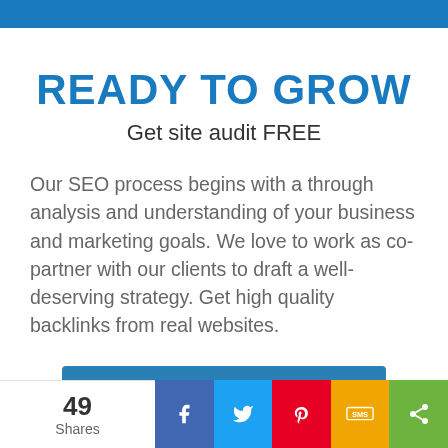READY TO GROW
Get site audit FREE
Our SEO process begins with a through analysis and understanding of your business and marketing goals. We love to work as co-partner with our clients to draft a well-deserving strategy. Get high quality backlinks from real websites.
Submit URL for FREE SEO Audit
49 Shares